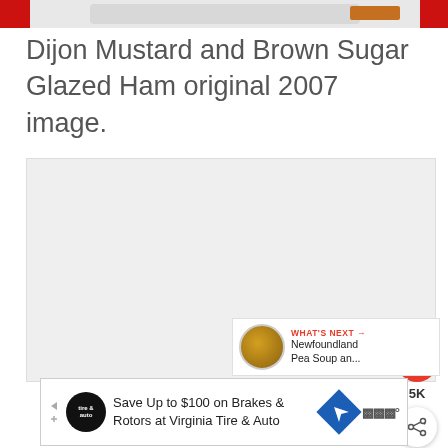[Figure (photo): Top strip of a food photo showing a glazed ham on a white plate with red background accents]
Dijon Mustard and Brown Sugar Glazed Ham original 2007 image.
[Figure (photo): Main large image area (white/grey rectangle placeholder) for Dijon Mustard and Brown Sugar Glazed Ham]
[Figure (infographic): Social interaction UI: heart/like button (red circle with heart, showing 5K likes) and share button]
[Figure (infographic): WHAT'S NEXT panel with thumbnail of Newfoundland Pea Soup and... recipe]
[Figure (infographic): Advertisement banner: Save Up to $100 on Brakes & Rotors at Virginia Tire & Auto, with tire auto logo and navigation icon]